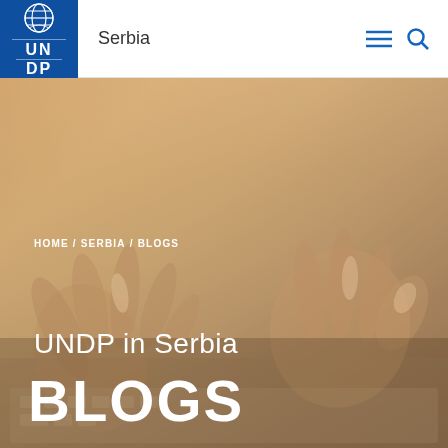UNDP Serbia
[Figure (photo): Close-up photo of hands typing on a laptop keyboard, warm orange-brown tones, blurred background]
HOME / SERBIA / BLOGS
UNDP in Serbia
BLOGS